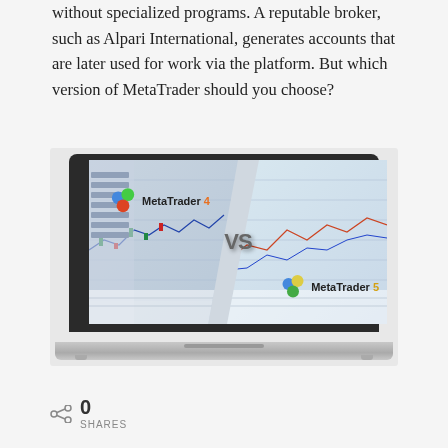without specialized programs. A reputable broker, such as Alpari International, generates accounts that are later used for work via the platform. But which version of MetaTrader should you choose?
[Figure (screenshot): A laptop displaying a MetaTrader 4 vs MetaTrader 5 comparison screenshot, showing both trading platforms side by side with a 'VS' badge in the center.]
0 SHARES